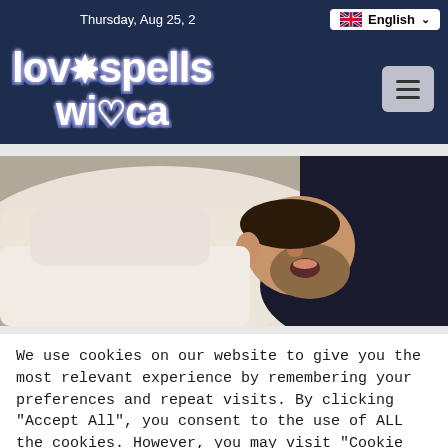Thursday, Aug 25, 2 | English
[Figure (logo): lovespells wicca website logo with decorative white text on dark navy background]
[Figure (photo): A bearded man lying in bed with white pillows, eyes closed, mouth open, possibly sleeping or snoring]
We use cookies on our website to give you the most relevant experience by remembering your preferences and repeat visits. By clicking "Accept All", you consent to the use of ALL the cookies. However, you may visit "Cookie Settings" to provide a controlled consent.
Cookie Settings | Acc | How can I help you?